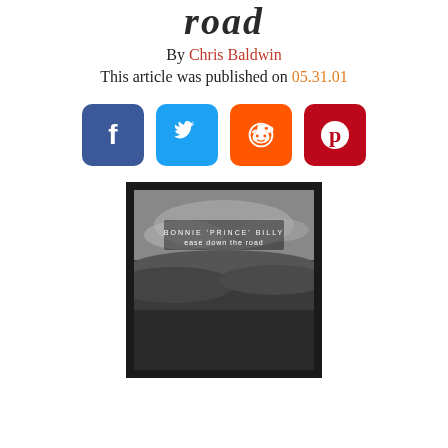road
By Chris Baldwin
This article was published on 05.31.01
[Figure (other): Social media share icons: Facebook, Twitter, Reddit, Pinterest]
[Figure (photo): Album cover for Bonnie 'Prince' Billy - 'ease down the road', black and white landscape photo with text overlay]